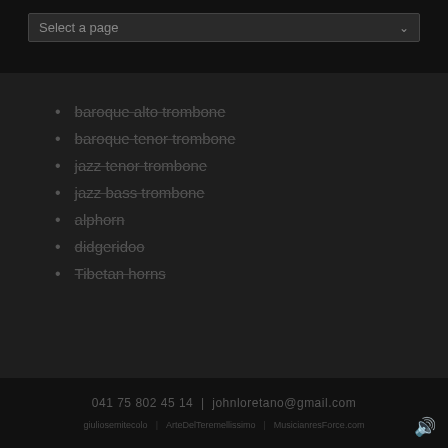Select a page
baroque alto trombone
baroque tenor trombone
jazz tenor trombone
jazz bass trombone
alphorn
didgeridoo
Tibetan horns
041 75 802 45 14  |  johnloretano@gmail.com  giuliosemitecolo  ArteDelTeremellissimo  MusicianresForce.com